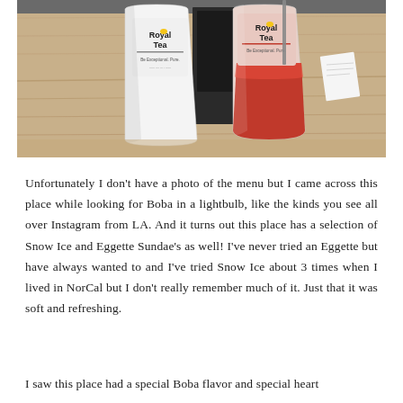[Figure (photo): Two Royal Tea branded drinks on a wooden table. One is a white cup and the other is a clear cup with red/pink liquid. Both cups have the Royal Tea logo on them.]
Unfortunately I don't have a photo of the menu but I came across this place while looking for Boba in a lightbulb, like the kinds you see all over Instagram from LA. And it turns out this place has a selection of Snow Ice and Eggette Sundae's as well! I've never tried an Eggette but have always wanted to and I've tried Snow Ice about 3 times when I lived in NorCal but I don't really remember much of it. Just that it was soft and refreshing.
I saw this place had a special Boba flavor and special heart